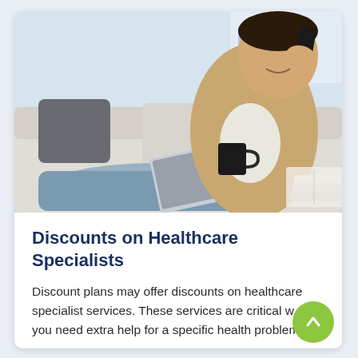[Figure (photo): A young man sitting on a sofa with a laptop on his lap, holding a coffee mug in one hand and a smartphone to his ear with the other hand, smiling. Couch has grey pillows. Books and a notebook visible in the background.]
Discounts on Healthcare Specialists
Discount plans may offer discounts on healthcare specialist services. These services are critical when you need extra help for a specific health problem,